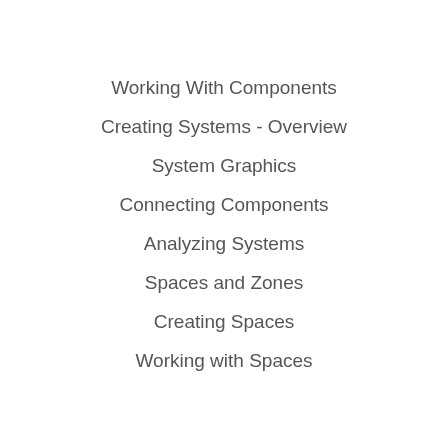Working With Components
Creating Systems - Overview
System Graphics
Connecting Components
Analyzing Systems
Spaces and Zones
Creating Spaces
Working with Spaces